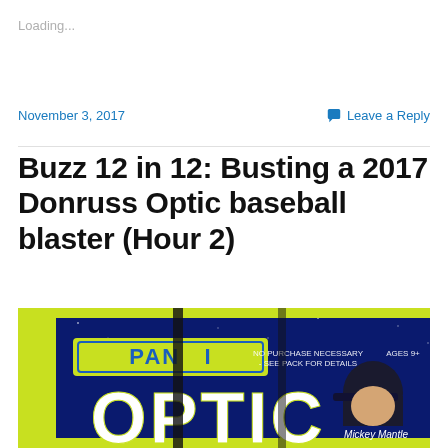Loading...
November 3, 2017
Leave a Reply
Buzz 12 in 12: Busting a 2017 Donruss Optic baseball blaster (Hour 2)
[Figure (photo): Photo of a 2017 Donruss Optic baseball blaster box showing the Panini and Optic logos on a dark blue background with yellow-green accents, and a partial image of Mickey Mantle.]